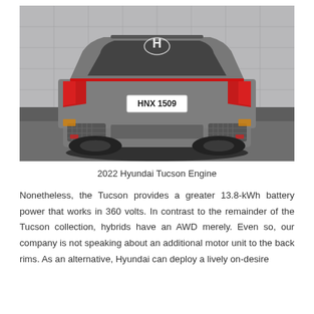[Figure (photo): Rear view of a 2022 Hyundai Tucson in grey, showing distinctive H logo, red LED tail lights, license plate reading HNX 1509, and lower rear bumper with decorative mesh inserts. The car is photographed against a grey tile wall background on a grey floor.]
2022 Hyundai Tucson Engine
Nonetheless, the Tucson provides a greater 13.8-kWh battery power that works in 360 volts. In contrast to the remainder of the Tucson collection, hybrids have an AWD merely. Even so, our company is not speaking about an additional motor unit to the back rims. As an alternative, Hyundai can deploy a lively on-desire